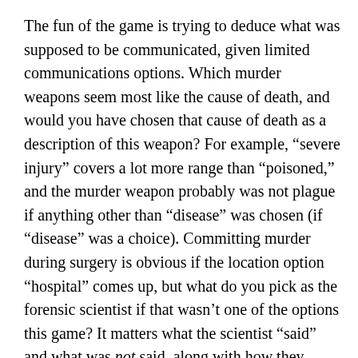The fun of the game is trying to deduce what was supposed to be communicated, given limited communications options. Which murder weapons seem most like the cause of death, and would you have chosen that cause of death as a description of this weapon? For example, “severe injury” covers a lot more range than “poisoned,” and the murder weapon probably was not plague if anything other than “disease” was chosen (if “disease” was a choice). Committing murder during surgery is obvious if the location option “hospital” comes up, but what do you pick as the forensic scientist if that wasn’t one of the options this game? It matters what the scientist “said” and what was not said, along with how they expected those answer to be interpreted, mixed with the open question of whether that clue was supposed to refer to the blue or the brown card in this murderer’s combination.